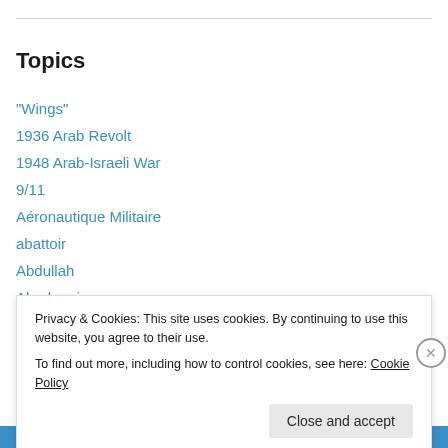Topics
"Wings"
1936 Arab Revolt
1948 Arab-Israeli War
9/11
Aéronautique Militaire
abattoir
Abdullah
Abrahamic
Abu al Lasan
Actium
Privacy & Cookies: This site uses cookies. By continuing to use this website, you agree to their use.
To find out more, including how to control cookies, see here: Cookie Policy
Close and accept